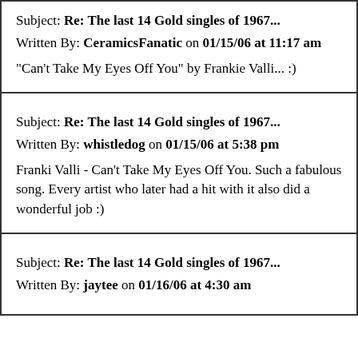Subject: Re: The last 14 Gold singles of 1967...
Written By: CeramicsFanatic on 01/15/06 at 11:17 am
"Can't Take My Eyes Off You" by Frankie Valli... :)
Subject: Re: The last 14 Gold singles of 1967...
Written By: whistledog on 01/15/06 at 5:38 pm
Franki Valli - Can't Take My Eyes Off You.  Such a fabulous song.  Every artist who later had a hit with it also did a wonderful job :)
Subject: Re: The last 14 Gold singles of 1967...
Written By: jaytee on 01/16/06 at 4:30 am